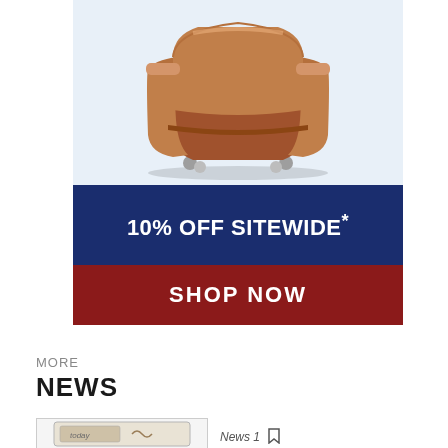[Figure (photo): Brown leather armchair on a light blue background]
[Figure (infographic): Advertisement banner: dark blue top section reading '10% OFF SITEWIDE*' and dark red bottom section reading 'SHOP NOW']
MORE
NEWS
[Figure (photo): Small thumbnail image with a stamp/seal graphic]
News 1 [bookmark icon]